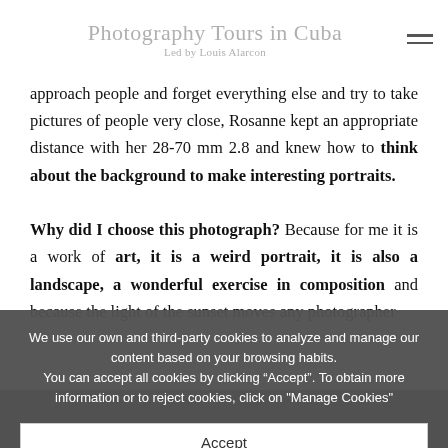Photography Tours in Cuba
Led by Louis Alarcon
approach people and forget everything else and try to take pictures of people very close, Rosanne kept an appropriate distance with her 28-70 mm 2.8 and knew how to think about the background to make interesting portraits.
Why did I choose this photograph? Because for me it is a work of art, it is a weird portrait, it is also a landscape, a wonderful exercise in composition and because the light of the sunset moves any photographer
We use our own and third-party cookies to analyze and manage our content based on your browsing habits.
You can accept all cookies by clicking “Accept”. To obtain more information or to reject cookies, click on "Manage Cookies"
Accept
Manage Cookies